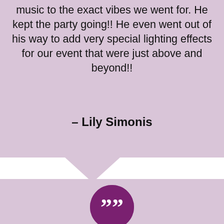music to the exact vibes we went for. He kept the party going!! He even went out of his way to add very special lighting effects for our event that were just above and beyond!!
– Lily Simonis
[Figure (illustration): Speech bubble tail pointing down-left between two testimonial blocks]
[Figure (illustration): Dark purple circle with white closing double quotation marks]
Exceeded all our expectations
Justin was wonderful! We hired him